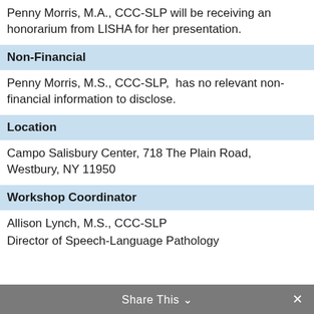Penny Morris, M.A., CCC-SLP will be receiving an honorarium from LISHA for her presentation.
Non-Financial
Penny Morris, M.S., CCC-SLP,  has no relevant non-financial information to disclose.
Location
Campo Salisbury Center, 718 The Plain Road, Westbury, NY 11950
Workshop Coordinator
Allison Lynch, M.S., CCC-SLP
Director of Speech-Language Pathology
Share This ∨  ✕